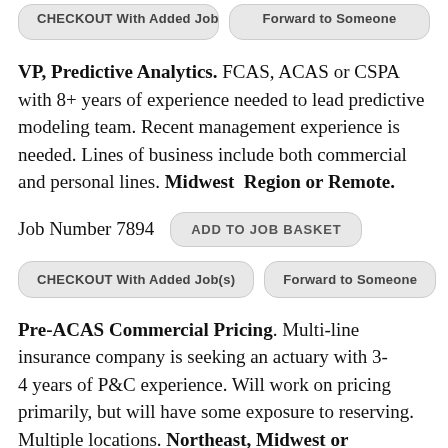CHECKOUT With Added Job(s)   Forward to Someone
VP, Predictive Analytics. FCAS, ACAS or CSPA with 8+ years of experience needed to lead predictive modeling team. Recent management experience is needed. Lines of business include both commercial and personal lines. Midwest Region or Remote.
Job Number 7894   ADD TO JOB BASKET
CHECKOUT With Added Job(s)   Forward to Someone
Pre-ACAS Commercial Pricing. Multi-line insurance company is seeking an actuary with 3-4 years of P&C experience. Will work on pricing primarily, but will have some exposure to reserving. Multiple locations. Northeast, Midwest or Southwest Regions.